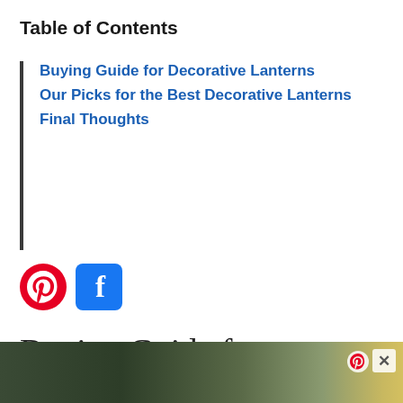Table of Contents
Buying Guide for Decorative Lanterns
Our Picks for the Best Decorative Lanterns
Final Thoughts
[Figure (logo): Pinterest and Facebook social media icons]
Buying Guide for Decorative Lanterns
[Figure (photo): Partial photo of outdoor garden scene with greenery and light, partially obscured by overlay with Pinterest pin icon and close button]